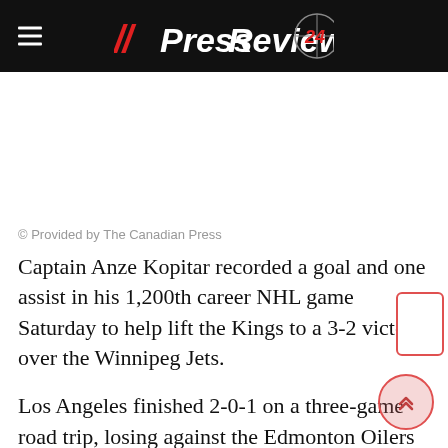// PressReview 24
© Provided by The Canadian Press
Captain Anze Kopitar recorded a goal and one assist in his 1,200th career NHL game Saturday to help lift the Kings to a 3-2 victory over the Winnipeg Jets.
Los Angeles finished 2-0-1 on a three-game road trip, losing against the Edmonton Oilers in a shootout last week and then beating the Calgary Flames in a shootout.